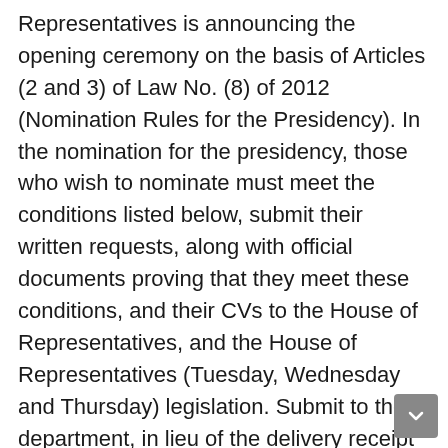Representatives is announcing the opening ceremony on the basis of Articles (2 and 3) of Law No. (8) of 2012 (Nomination Rules for the Presidency). In the nomination for the presidency, those who wish to nominate must meet the conditions listed below, submit their written requests, along with official documents proving that they meet these conditions, and their CVs to the House of Representatives, and the House of Representatives (Tuesday, Wednesday and Thursday) legislation. Submit to the department, in lieu of the delivery receipt proving that the request has been submitted, the date of submission and attachments of its documents. The statement said, “For the post of President, in accordance with Article (1) of the Act, Iraqi parents must be of full capacity and have reached the age of forty, with good reputation and political experience, and their integrity, integrity, justice and homeland.” Is known for faith. “ His academic